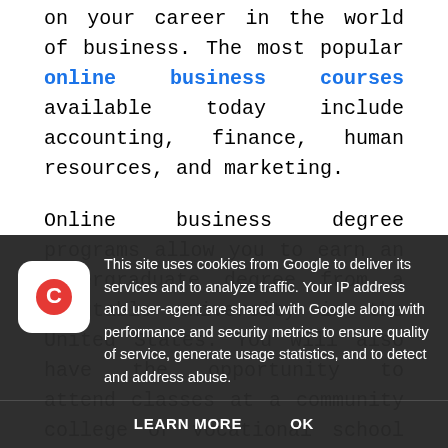on your career in the world of business. The most popular online business courses available today include accounting, finance, human resources, and marketing.
Online business degree programs allow you to earn an undergraduate degree from a reputable university in the United States. You will also have the opportunity to attend classes at a community college or vocational school during your time as an online student.
Online Business Education is one of the most popular fields
This site uses cookies from Google to deliver its services and to analyze traffic. Your IP address and user-agent are shared with Google along with performance and security metrics to ensure quality of service, generate usage statistics, and to detect and address abuse.